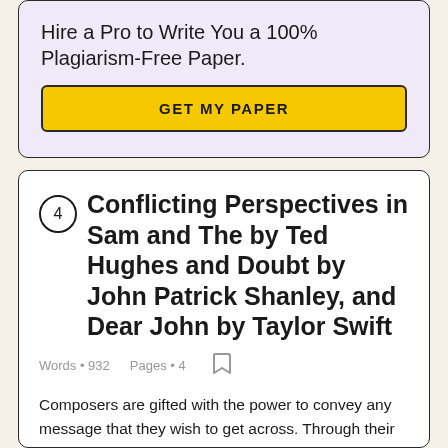Hire a Pro to Write You a 100% Plagiarism-Free Paper.
GET MY PAPER
4 Conflicting Perspectives in Sam and The by Ted Hughes and Doubt by John Patrick Shanley, and Dear John by Taylor Swift
Words • 932    Pages • 4
Composers are gifted with the power to convey any message that they wish to get across. Through their choice of content, composers are able to